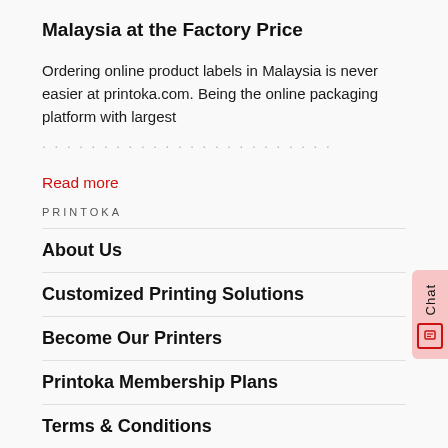Malaysia at the Factory Price
Ordering online product labels in Malaysia is never easier at printoka.com. Being the online packaging platform with largest
Read more
PRINTOKA
About Us
Customized Printing Solutions
Become Our Printers
Printoka Membership Plans
Terms & Conditions